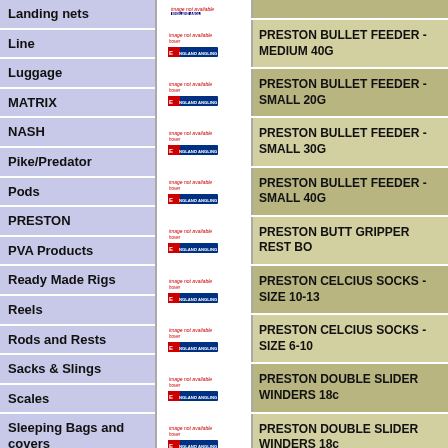Landing nets
Line
Luggage
MATRIX
NASH
Pike/Predator
Pods
PRESTON
PVA Products
Ready Made Rigs
Reels
Rods and Rests
Sacks & Slings
Scales
Sleeping Bags and covers
Stoves & Cooking
| Image | Product Name |
| --- | --- |
| [image] | PRESTON BULLET FEEDER - MEDIUM 40G |
| [image] | PRESTON BULLET FEEDER - SMALL 20G |
| [image] | PRESTON BULLET FEEDER - SMALL 30G |
| [image] | PRESTON BULLET FEEDER - SMALL 40G |
| [image] | PRESTON BUTT GRIPPER REST BO |
| [image] | PRESTON CELCIUS SOCKS - SIZE 10-13 |
| [image] | PRESTON CELCIUS SOCKS - SIZE 6-10 |
| [image] | PRESTON DOUBLE SLIDER WINDERS 18c |
| [image] | PRESTON DOUBLE SLIDER WINDERS 18c |
| [image] | PRESTON DOUBLE SLIDER WINDERS 18c |